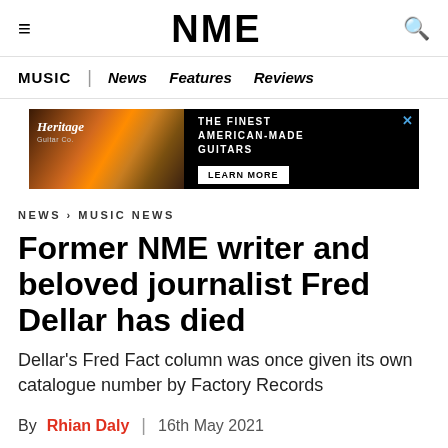NME
MUSIC | News Features Reviews
[Figure (other): Heritage Guitar advertisement banner with dark background showing an orange/brown guitar on the left, text 'THE FINEST AMERICAN-MADE GUITARS' and a 'LEARN MORE' button]
NEWS › MUSIC NEWS
Former NME writer and beloved journalist Fred Dellar has died
Dellar's Fred Fact column was once given its own catalogue number by Factory Records
By Rhian Daly | 16th May 2021